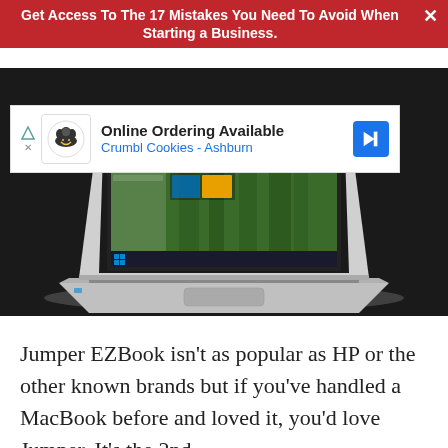Get Access To The 17 Mistakes You Need To Avoid When Starting a Business.
[Figure (screenshot): Advertisement banner for Crumbl Cookies - Ashburn: Online Ordering Available with logo, blue diamond arrow icon]
[Figure (photo): Silver laptop computer open displaying Windows 10 desktop with taskbar and forest wallpaper, photographed at an angle on white background]
Jumper EZBook isn't as popular as HP or the other known brands but if you've handled a MacBook before and loved it, you'd love Jumper. It's the 2nd